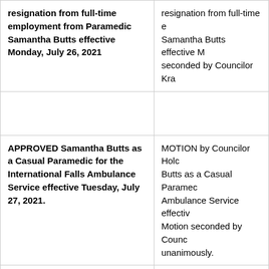| resignation from full-time employment from Paramedic Samantha Butts effective Monday, July 26, 2021 | resignation from full-time e... Samantha Butts effective M... seconded by Councilor Kra... |
|  |  |
| APPROVED Samantha Butts as a Casual Paramedic for the International Falls Ambulance Service effective Tuesday, July 27, 2021. | MOTION by Councilor Holc... Butts as a Casual Paramec... Ambulance Service effectiv... Motion seconded by Counc... unanimously. |
|  |  |
| Acknowledged promotion to Police Captain position, as presented by Chief Kostiuk | Chief Kostiuk announced th... Mitch Lessard to Police Ca... Kostiuk's promotion to Chi... 2021. |
|  |  |